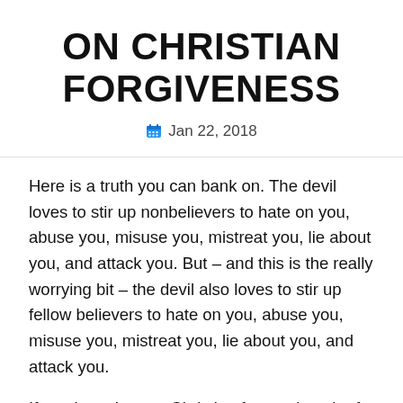ON CHRISTIAN FORGIVENESS
Jan 22, 2018
Here is a truth you can bank on. The devil loves to stir up nonbelievers to hate on you, abuse you, misuse you, mistreat you, lie about you, and attack you. But – and this is the really worrying bit – the devil also loves to stir up fellow believers to hate on you, abuse you, misuse you, mistreat you, lie about you, and attack you.
If you have been a Christian for any length of time, seeking to faithfully serve the Lord, you would have experienced both. Needless to say it is not pleasant. It hurts and it hurts greatly. You may well